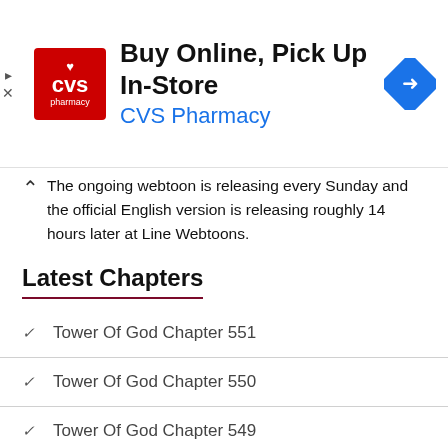[Figure (infographic): CVS Pharmacy advertisement banner: red CVS pharmacy logo on left, text 'Buy Online, Pick Up In-Store' in bold black, 'CVS Pharmacy' in blue, blue navigation diamond icon on right. Close/arrow controls on far left.]
The ongoing webtoon is releasing every Sunday and the official English version is releasing roughly 14 hours later at Line Webtoons.
Latest Chapters
Tower Of God Chapter 551
Tower Of God Chapter 550
Tower Of God Chapter 549